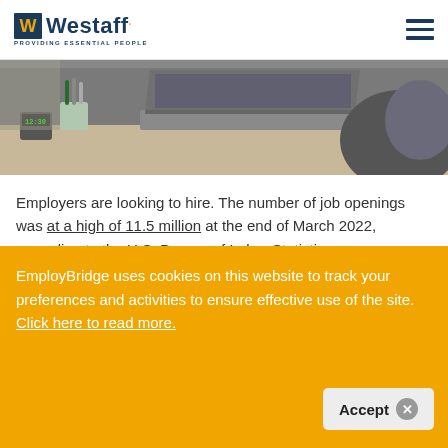Westaff - Providing Essential People
[Figure (photo): Partial view of a person at a desk with a laptop open, a pencil holder with pens, and a desk clock, photographed from a close angle.]
Employers are looking to hire. The number of job openings was at a high of 11.5 million at the end of March 2022, according to the U.S. Bureau of Labor Statistics.
EmployBridge uses cookies on this website to track your preferences and activities to ensure effective use of the site. Click here to read more.